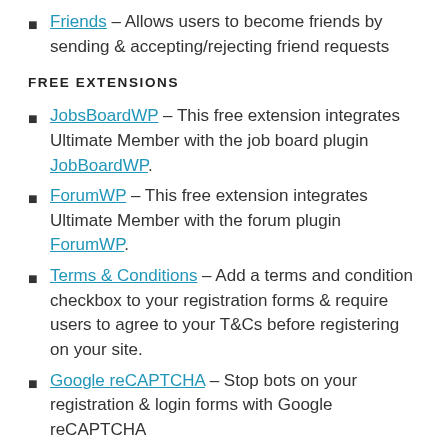Friends – Allows users to become friends by sending & accepting/rejecting friend requests
FREE EXTENSIONS
JobsBoardWP – This free extension integrates Ultimate Member with the job board plugin JobBoardWP.
ForumWP – This free extension integrates Ultimate Member with the forum plugin ForumWP.
Terms & Conditions – Add a terms and condition checkbox to your registration forms & require users to agree to your T&Cs before registering on your site.
Google reCAPTCHA – Stop bots on your registration & login forms with Google reCAPTCHA
Online Users – Display what users are online with